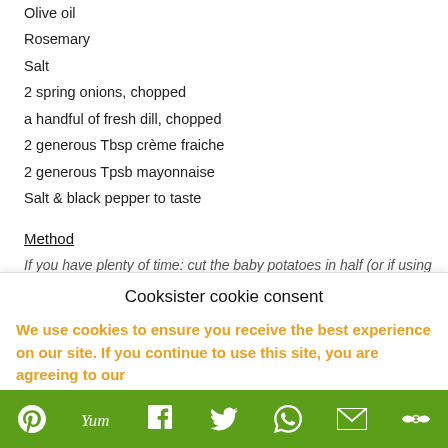Olive oil
Rosemary
Salt
2 spring onions, chopped
a handful of fresh dill, chopped
2 generous Tbsp crème fraiche
2 generous Tpsb mayonnaise
Salt & black pepper to taste
Method
If you have plenty of time: cut the baby potatoes in half (or if using
Cooksister cookie consent
We use cookies to ensure you receive the best experience on our site. If you continue to use this site, you are agreeing to our